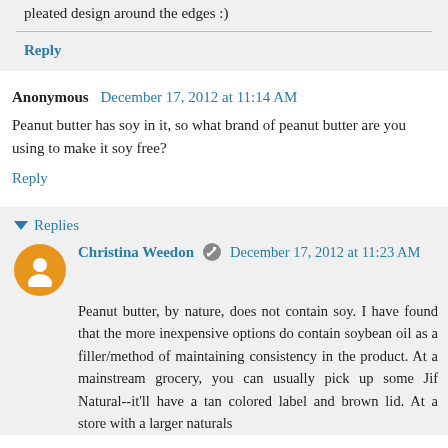pleated design around the edges :)
Reply
Anonymous December 17, 2012 at 11:14 AM
Peanut butter has soy in it, so what brand of peanut butter are you using to make it soy free?
Reply
Replies
Christina Weedon December 17, 2012 at 11:23 AM
Peanut butter, by nature, does not contain soy. I have found that the more inexpensive options do contain soybean oil as a filler/method of maintaining consistency in the product. At a mainstream grocery, you can usually pick up some Jif Natural--it'll have a tan colored label and brown lid. At a store with a larger naturals